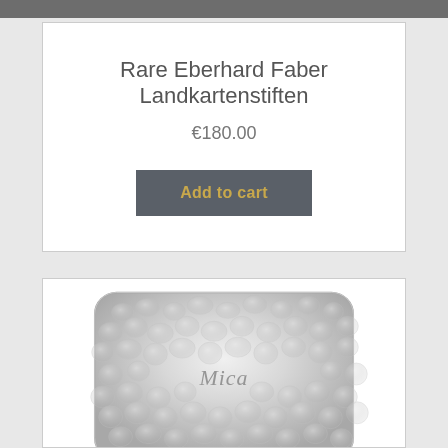Rare Eberhard Faber Landkartenstiften
€180.00
Add to cart
[Figure (photo): Silver embossed metal tin/case with hammered texture pattern and script engraving reading 'Mica']